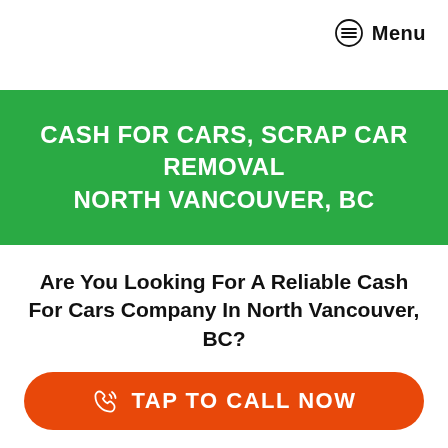Menu
CASH FOR CARS, SCRAP CAR REMOVAL NORTH VANCOUVER, BC
Are You Looking For A Reliable Cash For Cars Company In North Vancouver, BC?
TAP TO CALL NOW